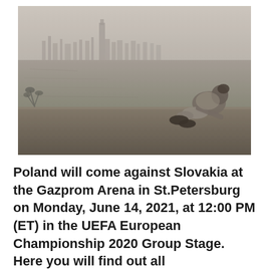[Figure (photo): Sepia-toned black and white photograph of a person sitting on a dock or ledge looking out at a body of water with a city skyline visible in the misty background]
Poland will come against Slovakia at the Gazprom Arena in St.Petersburg on Monday, June 14, 2021, at 12:00 PM (ET) in the UEFA European Championship 2020 Group Stage. Here you will find out all